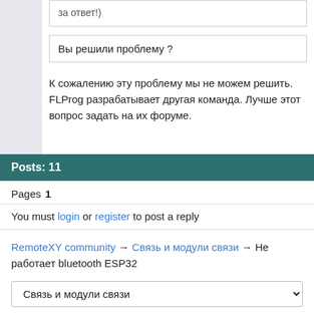за ответ!)
Вы решили проблему ?
К сожалению эту проблему мы не можем решить. FLProg разрабатывает другая команда. Лучше этот вопрос задать на их форуме.
Posts: 11
Pages   1
You must login or register to post a reply
RemoteXY community → Связь и модули связи → Не работает bluetooth ESP32
Связь и модули связи